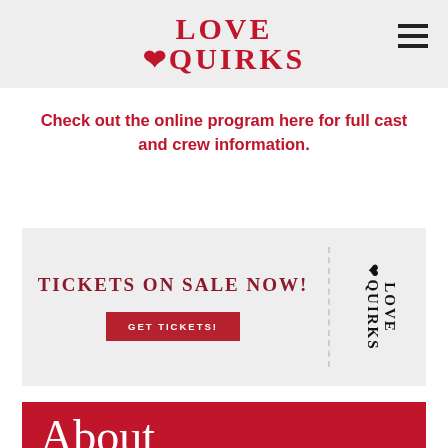LOVE QUIRKS
Check out the online program here for full cast and crew information.
[Figure (infographic): Ticket banner with text TICKETS ON SALE NOW! and a GET TICKETS! button, with a Love Quirks logo on the right side rotated 90 degrees, on a light grey background with dashed divider]
About